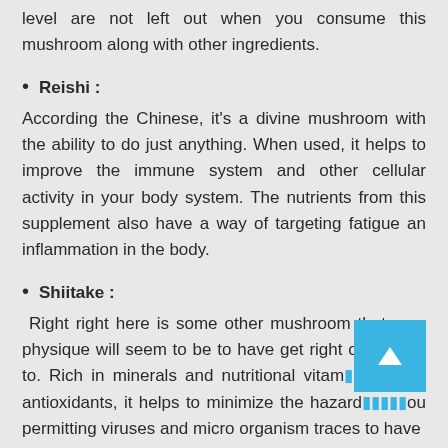level are not left out when you consume this mushroom along with other ingredients.
Reishi :
According the Chinese, it's a divine mushroom with the ability to do just anything. When used, it helps to improve the immune system and other cellular activity in your body system. The nutrients from this supplement also have a way of targeting fatigue an inflammation in the body.
Shiitake :
Right right here is some other mushroom that your physique will seem to be to have get right of entry to to. Rich in minerals and nutritional vitam and antioxidants, it helps to minimize the hazard you permitting viruses and micro organism traces to have